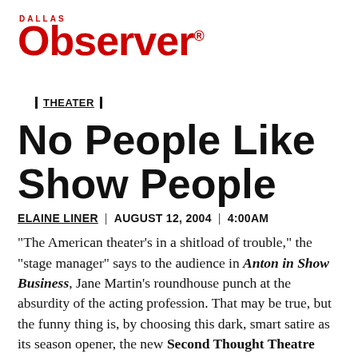[Figure (logo): Dallas Observer logo in red with 'DALLAS' text above in small caps]
| THEATER |
No People Like Show People
ELAINE LINER | AUGUST 12, 2004 | 4:00AM
"The American theater's in a shitload of trouble," the "stage manager" says to the audience in Anton in Show Business, Jane Martin's roundhouse punch at the absurdity of the acting profession. That may be true, but the funny thing is, by choosing this dark, smart satire as its season opener, the new Second Thought Theatre company proves there's still hope. The real trouble with